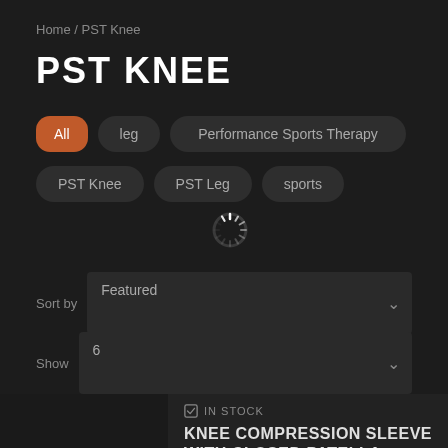Home / PST Knee
PST KNEE
All
leg
Performance Sports Therapy
PST Knee
PST Leg
sports
[Figure (other): Loading spinner animation]
Sort by  Featured
Show  6
IN STOCK
KNEE COMPRESSION SLEEVE WITH CLOSED PATELLA
PERFORMANCE SPORTS THERAPY,